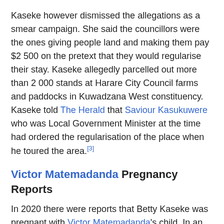Kaseke however dismissed the allegations as a smear campaign. She said the councillors were the ones giving people land and making them pay $2 500 on the pretext that they would regularise their stay. Kaseke allegedly parcelled out more than 2 000 stands at Harare City Council farms and paddocks in Kuwadzana West constituency. Kaseke told The Herald that Saviour Kasukuwere who was Local Government Minister at the time had ordered the regularisation of the place when he toured the area.[3]
Victor Matemadanda Pregnancy Reports
In 2020 there were reports that Betty Kaseke was pregnant with Victor Matemadanda's child. In an interview, Kaseke dismissed the reports saying they were meant to tarnish her image and bar her from contesting in the Zanu-